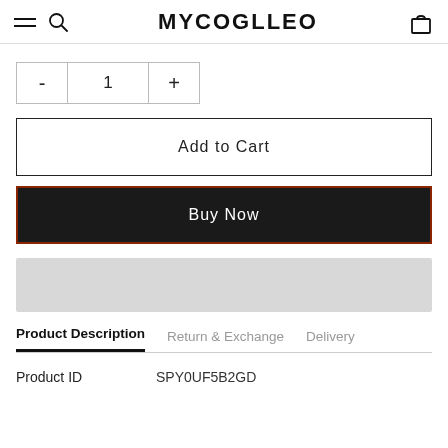MYCOOLLEOS
- 1 +
Add to Cart
Buy Now
[Figure (other): Gray placeholder bar]
Product Description   Return & Exchange   Delivery
| Product ID | SPY0UF5B2GD |
| --- | --- |